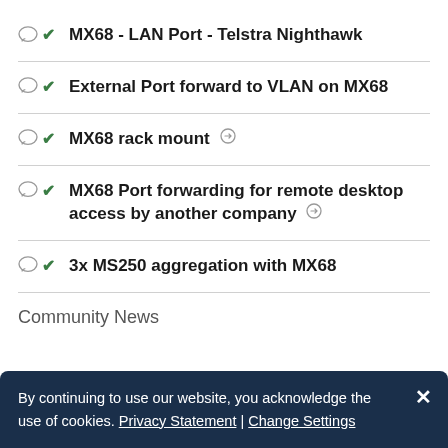MX68 - LAN Port - Telstra Nighthawk
External Port forward to VLAN on MX68
MX68 rack mount
MX68 Port forwarding for remote desktop access by another company
3x MS250 aggregation with MX68
Community News
By continuing to use our website, you acknowledge the use of cookies. Privacy Statement | Change Settings